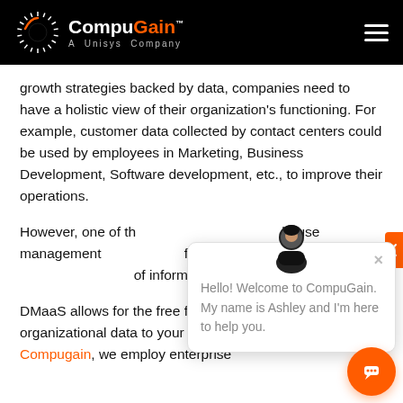CompuGain™ A Unisys Company
growth strategies backed by data, companies need to have a holistic view of their organization's functioning. For example, customer data collected by contact centers could be used by employees in Marketing, Business Development, Software development, etc., to improve their operations.
However, one of th... house management... free channel for cr... of information.
DMaaS allows for the free flow of all kinds of organizational data to your teams. For example, at Compugain, we employ enterprise
[Figure (screenshot): Chat popup with avatar Ashley saying 'Hello! Welcome to CompuGain. My name is Ashley and I'm here to help you.' with orange chat button in bottom right corner.]